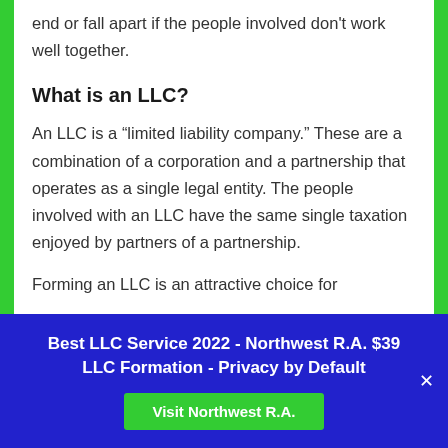end or fall apart if the people involved don't work well together.
What is an LLC?
An LLC is a “limited liability company.” These are a combination of a corporation and a partnership that operates as a single legal entity. The people involved with an LLC have the same single taxation enjoyed by partners of a partnership.
Forming an LLC is an attractive choice for
Best LLC Service 2022 - Northwest R.A. $39 LLC Formation - Privacy by Default
Visit Northwest R.A.